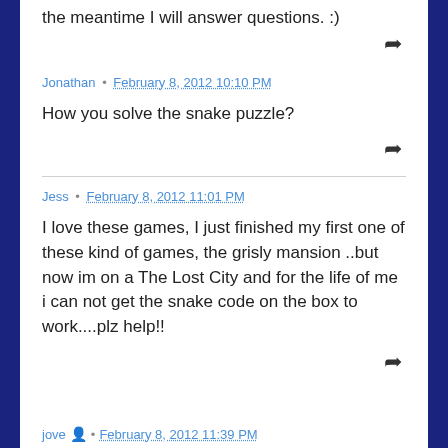the meantime I will answer questions. :)
Jonathan • February 8, 2012 10:10 PM
How you solve the snake puzzle?
Jess • February 8, 2012 11:01 PM
I love these games, I just finished my first one of these kind of games, the grisly mansion ..but now im on a The Lost City and for the life of me i can not get the snake code on the box to work....plz help!!
jove • February 8, 2012 11:39 PM